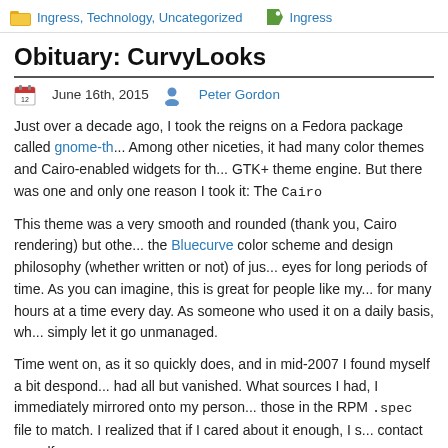Ingress, Technology, Uncategorized   Ingress
Obituary: CurvyLooks
June 16th, 2015   Peter Gordon
Just over a decade ago, I took the reigns on a Fedora package called gnome-th... Among other niceties, it had many color themes and Cairo-enabled widgets for th... GTK+ theme engine. But there was one and only one reason I took it: The Cairo
This theme was a very smooth and rounded (thank you, Cairo rendering) but oth... the Bluecurve color scheme and design philosophy (whether written or not) of jus... eyes for long periods of time. As you can imagine, this is great for people like my... for many hours at a time every day. As someone who used it on a daily basis, wh... simply let it go unmanaged.
Time went on, as it so quickly does, and in mid-2007 I found myself a bit despond... had all but vanished. What sources I had, I immediately mirrored onto my person... those in the RPM .spec file to match. I realized that if I cared about it enough, I ... contact myself.
And that is exactly what I did. That November, I ripped away every theme except... the only one I had any interest in, and formed the CurvyLooks project: A modest a... like color scheme and theme design for Clearlooks and essentially forward-port it... necessary.
Time again went on, however, and the chaos of life caught up with me. Newer GT... minor bugs/warnings about unused or invalid portions of the .gtkrc file, for inst...